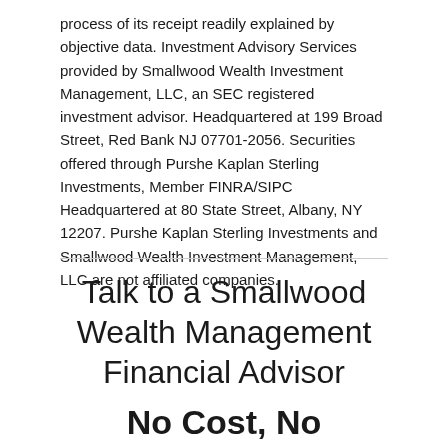process of its receipt readily explained by objective data. Investment Advisory Services provided by Smallwood Wealth Investment Management, LLC, an SEC registered investment advisor. Headquartered at 199 Broad Street, Red Bank NJ 07701-2056. Securities offered through Purshe Kaplan Sterling Investments, Member FINRA/SIPC Headquartered at 80 State Street, Albany, NY 12207. Purshe Kaplan Sterling Investments and Smallwood Wealth Investment Management, LLC are not affiliated companies.
Talk to a Smallwood Wealth Management Financial Advisor No Cost, No Obligation.